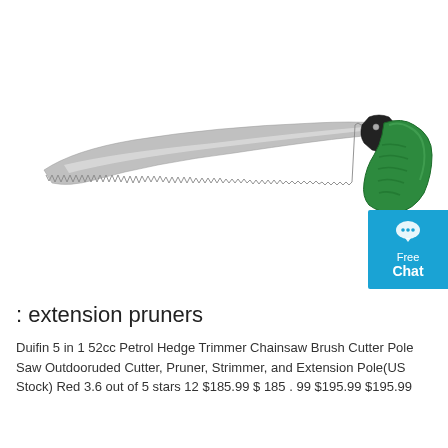[Figure (photo): A pruning saw with a long curved silver serrated blade and a green ergonomic handle with black accents, two silver rivets visible where blade meets handle. White background.]
: extension pruners
Duifin 5 in 1 52cc Petrol Hedge Trimmer Chainsaw Brush Cutter Pole Saw Outdooruded Cutter, Pruner, Strimmer, and Extension Pole(US Stock) Red 3.6 out of 5 stars 12 $185.99 $ 185 . 99 $195.99 $195.99